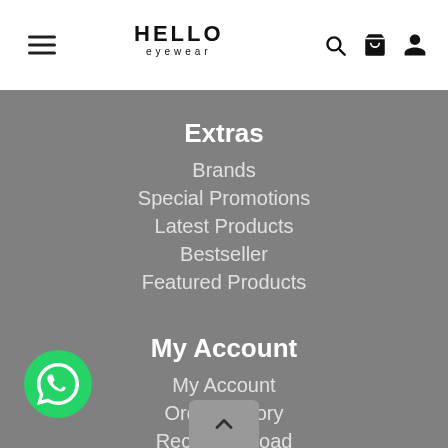HELLO eyewear — navigation header with hamburger menu, logo, search, cart, and account icons
Extras
Brands
Special Promotions
Latest Products
Bestseller
Featured Products
My Account
My Account
Order History
Receipt Upload
Wish List
[Figure (logo): WhatsApp contact button (green circle with WhatsApp icon)]
[Figure (other): Scroll-to-top button (grey rounded rectangle with upward chevron)]